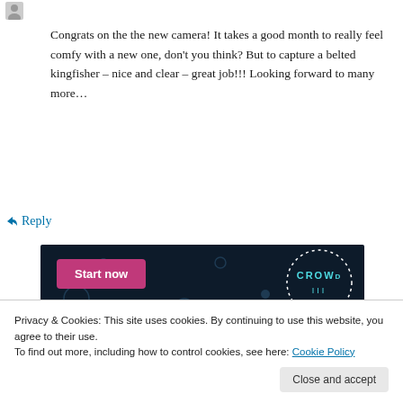[Figure (illustration): Small avatar/user icon in top-left corner]
Congrats on the the new camera! It takes a good month to really feel comfy with a new one, don't you think? But to capture a belted kingfisher – nice and clear – great job!!! Looking forward to many more…
↳ Reply
[Figure (screenshot): Dark navy advertisement banner with a pink 'Start now' button and a circular 'CROWD' logo on the right side with dotted border]
Privacy & Cookies: This site uses cookies. By continuing to use this website, you agree to their use.
To find out more, including how to control cookies, see here: Cookie Policy
Close and accept